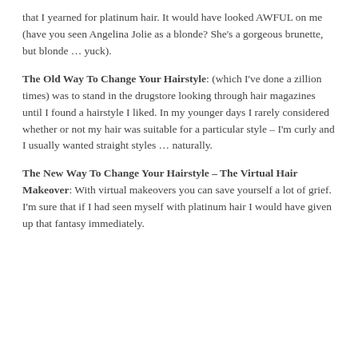that I yearned for platinum hair. It would have looked AWFUL on me (have you seen Angelina Jolie as a blonde? She's a gorgeous brunette, but blonde … yuck).
The Old Way To Change Your Hairstyle: (which I've done a zillion times) was to stand in the drugstore looking through hair magazines until I found a hairstyle I liked. In my younger days I rarely considered whether or not my hair was suitable for a particular style – I'm curly and I usually wanted straight styles … naturally.
The New Way To Change Your Hairstyle – The Virtual Hair Makeover: With virtual makeovers you can save yourself a lot of grief. I'm sure that if I had seen myself with platinum hair I would have given up that fantasy immediately.